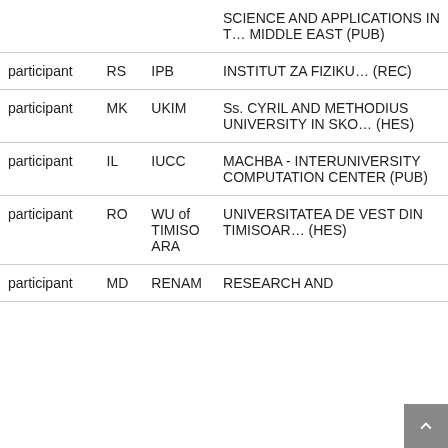|  |  |  |  |
| --- | --- | --- | --- |
|  |  |  | SCIENCE AND APPLICATIONS IN THE MIDDLE EAST (PUB) |
| participant | RS | IPB | INSTITUT ZA FIZIKU (REC) |
| participant | MK | UKIM | SS. CYRIL AND METHODIUS UNIVERSITY IN SKOPJE (HES) |
| participant | IL | IUCC | MACHBA - INTERUNIVERSITY COMPUTATION CENTER (PUB) |
| participant | RO | WU of TIMISOARA | UNIVERSITATEA DE VEST DIN TIMISOARA (HES) |
| participant | MD | RENAM | RESEARCH AND |